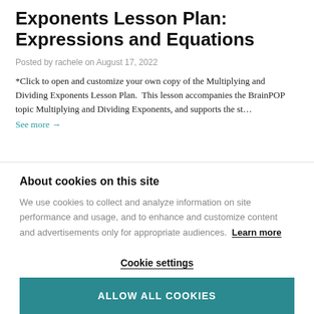Exponents Lesson Plan: Expressions and Equations
Posted by rachele on August 17, 2022
*Click to open and customize your own copy of the Multiplying and Dividing Exponents Lesson Plan.  This lesson accompanies the BrainPOP topic Multiplying and Dividing Exponents, and supports the st…
See more →
About cookies on this site
We use cookies to collect and analyze information on site performance and usage, and to enhance and customize content and advertisements only for appropriate audiences.  Learn more
Cookie settings
ALLOW ALL COOKIES